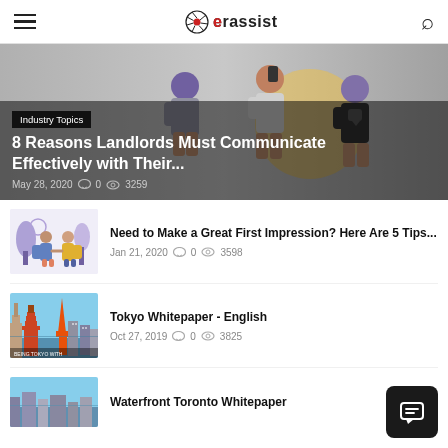erassist — site header with hamburger menu, logo, and search icon
[Figure (illustration): Hero banner with illustrated figures of people communicating, overlaid with article title and tag]
Industry Topics
8 Reasons Landlords Must Communicate Effectively with Their...
May 28, 2020  0  3259
[Figure (illustration): Two illustrated figures shaking hands with a decorative tree background]
Need to Make a Great First Impression? Here Are 5 Tips...
Jan 21, 2020  0  3598
[Figure (photo): Photo of Tokyo city skyline with tower and buildings]
Tokyo Whitepaper - English
Oct 27, 2019  0  3825
[Figure (photo): Partial photo of waterfront cityscape]
Waterfront Toronto Whitepaper